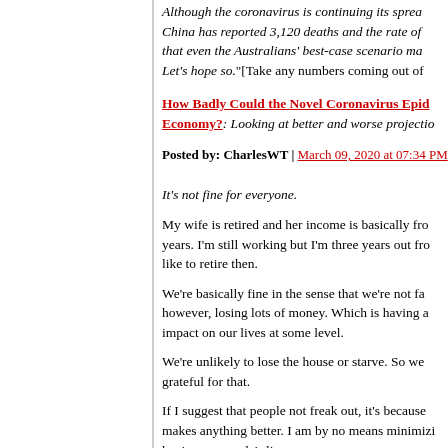Although the coronavirus is continuing its spread... China has reported 3,120 deaths and the rate of... that even the Australians' best-case scenario may... Let's hope so."[Take any numbers coming out of C...
How Badly Could the Novel Coronavirus Epide... Economy?: Looking at better and worse projectio...
Posted by: CharlesWT | March 09, 2020 at 07:34 PM
It's not fine for everyone.
My wife is retired and her income is basically from years. I'm still working but I'm three years out from like to retire then.
We're basically fine in the sense that we're not fac however, losing lots of money. Which is having an impact on our lives at some level.
We're unlikely to lose the house or starve. So we grateful for that.
If I suggest that people not freak out, it's because makes anything better. I am by no means minimiz having on people's lives.